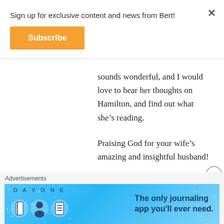Sign up for exclusive content and news from Bert!
Subscribe
sounds wonderful, and I would love to hear her thoughts on Hamilton, and find out what she’s reading.
Praising God for your wife’s amazing and insightful husband!
★ Like
Advertisements
[Figure (screenshot): Day One journaling app advertisement banner with blue background and icons, text: The only journaling app you’ll ever need.]